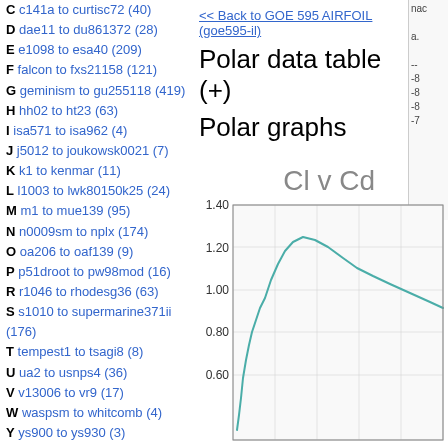C c141a to curtisc72 (40)
D dae11 to du861372 (28)
E e1098 to esa40 (209)
F falcon to fxs21158 (121)
G geminism to gu255118 (419)
H hh02 to ht23 (63)
I isa571 to isa962 (4)
J j5012 to joukowsk0021 (7)
K k1 to kenmar (11)
L l1003 to lwk80150k25 (24)
M m1 to mue139 (95)
N n0009sm to nplx (174)
O oa206 to oaf139 (9)
P p51droot to pw98mod (16)
R r1046 to rhodesg36 (63)
S s1010 to supermarine371ii (176)
T tempest1 to tsagi8 (8)
U ua2 to usnps4 (36)
V v13006 to vr9 (17)
W waspsm to whitcomb (4)
Y ys900 to ys930 (3)
List of all airfoils
Site
Home
Contact
Privacy Policy
<< Back to GOE 595 AIRFOIL (goe595-il)
Polar data table (+)
Polar graphs
[Figure (line-chart): Cl vs Cd polar graph for GOE 595 airfoil, showing Cl (lift coefficient) on y-axis from about 0.60 to 1.40, with a teal/green curve.]